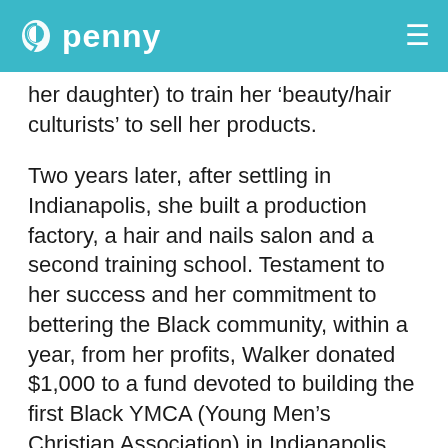penny
her daughter) to train her ‘beauty/hair culturists’ to sell her products.
Two years later, after settling in Indianapolis, she built a production factory, a hair and nails salon and a second training school. Testament to her success and her commitment to bettering the Black community, within a year, from her profits, Walker donated $1,000 to a fund devoted to building the first Black YMCA (Young Men’s Christian Association) in Indianapolis.
Eventually, Madam C.J. Walker took a step back from her Indianapolis headquarters and left the running of